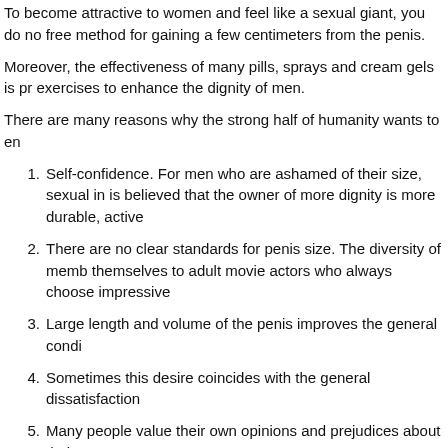To become attractive to women and feel like a sexual giant, you do not need to spend a lot of money. There is a free method for gaining a few centimeters from the penis.
Moreover, the effectiveness of many pills, sprays and cream gels is proved by many exercises to enhance the dignity of men.
There are many reasons why the strong half of humanity wants to enlarge the penis:
Self-confidence. For men who are ashamed of their size, sexual intercourse is a real test. It is believed that the owner of more dignity is more durable, active and capable of giving pleasure.
There are no clear standards for penis size. The diversity of members compare themselves to adult movie actors who always choose impressive sizes.
Large length and volume of the penis improves the general condition.
Sometimes this desire coincides with the general dissatisfaction.
Many people value their own opinions and prejudices about their size.